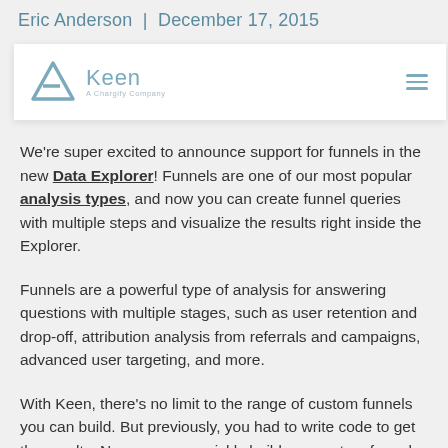Eric Anderson  |  December 17, 2015
[Figure (logo): Keen – A Chargify Company logo with triangle icon and hamburger menu]
We're super excited to announce support for funnels in the new Data Explorer! Funnels are one of our most popular analysis types, and now you can create funnel queries with multiple steps and visualize the results right inside the Explorer.
Funnels are a powerful type of analysis for answering questions with multiple stages, such as user retention and drop-off, attribution analysis from referrals and campaigns, advanced user targeting, and more.
With Keen, there's no limit to the range of custom funnels you can build. But previously, you had to write code to get the results. Now, you can quickly build any custom funnel in the Explorer, like this: